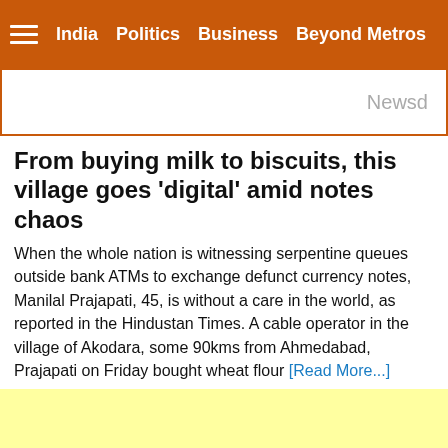India  Politics  Business  Beyond Metros
[Figure (screenshot): Ad banner with 'Newsd' logo on right side, orange border, white background]
From buying milk to biscuits, this village goes 'digital' amid notes chaos
When the whole nation is witnessing serpentine queues outside bank ATMs to exchange defunct currency notes, Manilal Prajapati, 45, is without a care in the world, as reported in the Hindustan Times. A cable operator in the village of Akodara, some 90kms from Ahmedabad, Prajapati on Friday bought wheat flour [Read More...]